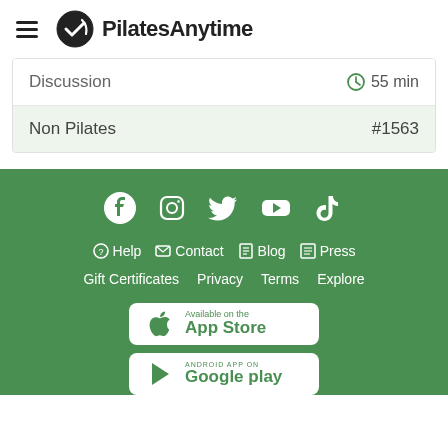PilatesAnytime
Discussion | 55 min
Non Pilates | #1563
Help | Contact | Blog | Press | Gift Certificates | Privacy | Terms | Explore | Available on the App Store | Android App on Google play